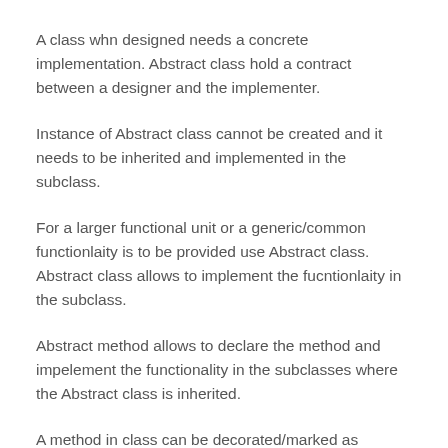A class whn designed needs a concrete implementation. Abstract class hold a contract between a designer and the implementer.
Instance of Abstract class cannot be created and it needs to be inherited and implemented in the subclass.
For a larger functional unit or a generic/common functionlaity is to be provided use Abstract class. Abstract class allows to implement the fucntionlaity in the subclass.
Abstract method allows to declare the method and impelement the functionality in the subclasses where the Abstract class is inherited.
A method in class can be decorated/marked as